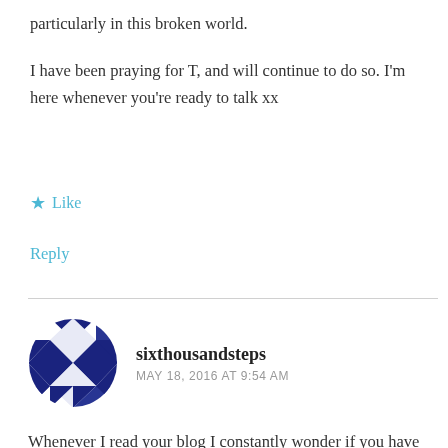particularly in this broken world.
I have been praying for T, and will continue to do so. I'm here whenever you're ready to talk xx
★ Like
Reply
sixthousandsteps
MAY 18, 2016 AT 9:54 AM
Whenever I read your blog I constantly wonder if you have secretly climbed into my mind like a ninja and read my thoughts. As always your